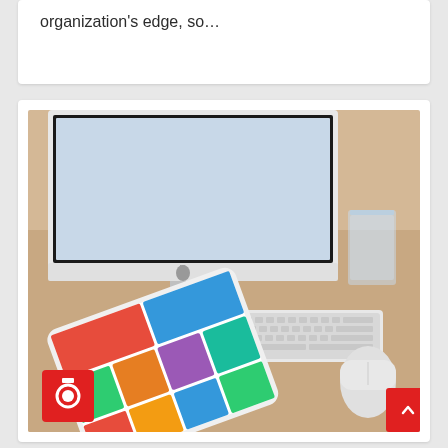organization's edge, so…
[Figure (photo): Apple iMac computer on a wooden desk with an iPad showing app icons, Apple Magic Keyboard, Apple Magic Mouse, and a glass of water. A red camera icon button is overlaid in the bottom-left corner of the image.]